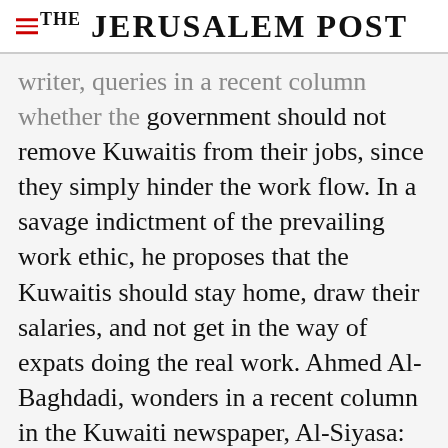THE JERUSALEM POST
writer, queries in a recent column whether the government should not remove Kuwaitis from their jobs, since they simply hinder the work flow. In a savage indictment of the prevailing work ethic, he proposes that the Kuwaitis should stay home, draw their salaries, and not get in the way of expats doing the real work. Ahmed Al-Baghdadi, wonders in a recent column in the Kuwaiti newspaper, Al-Siyasa: "What do we actually produce? Our oil is produced and
Advertisement